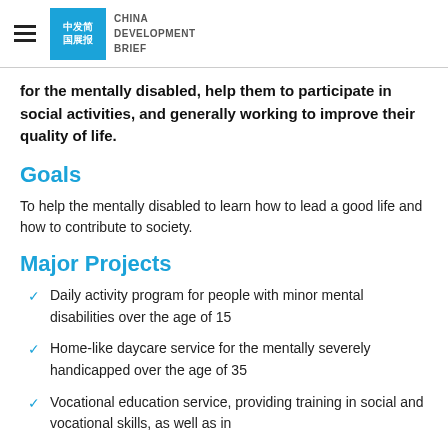China Development Brief
for the mentally disabled, help them to participate in social activities, and generally working to improve their quality of life.
Goals
To help the mentally disabled to learn how to lead a good life and how to contribute to society.
Major Projects
Daily activity program for people with minor mental disabilities over the age of 15
Home-like daycare service for the mentally severely handicapped over the age of 35
Vocational education service, providing training in social and vocational skills, as well as in